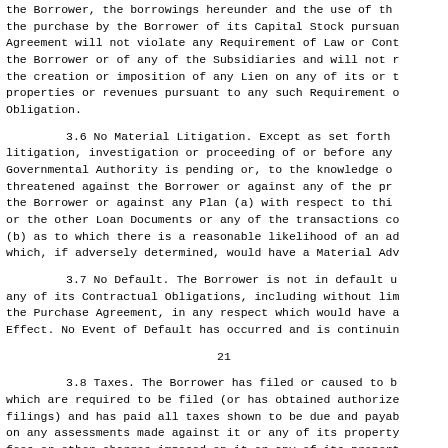the Borrower, the borrowings hereunder and the use of the proceeds thereof, the purchase by the Borrower of its Capital Stock pursuant to the Purchase Agreement will not violate any Requirement of Law or Contractual Obligation of the Borrower or of any of the Subsidiaries and will not result in, or require, the creation or imposition of any Lien on any of its or their respective properties or revenues pursuant to any such Requirement of Law or Contractual Obligation.
3.6 No Material Litigation. Except as set forth in Schedule 3.6, no litigation, investigation or proceeding of or before any arbitrator or Governmental Authority is pending or, to the knowledge of the Borrower, threatened against the Borrower or against any of the properties or revenues of the Borrower or against any Plan (a) with respect to this Agreement or the other Loan Documents or any of the transactions contemplated hereby or (b) as to which there is a reasonable likelihood of an adverse determination and which, if adversely determined, would have a Material Adv
3.7 No Default. The Borrower is not in default under or with respect to any of its Contractual Obligations, including without limitation, under the Purchase Agreement, in any respect which would have a Material Adverse Effect. No Event of Default has occurred and is continuing.
21
3.8 Taxes. The Borrower has filed or caused to be filed all tax returns which are required to be filed (or has obtained authorized extensions of time for filings) and has paid all taxes shown to be due and payable on said returns or on any assessments made against it or any of its property, and all other taxes, fees or other charges imposed on it or any of its property